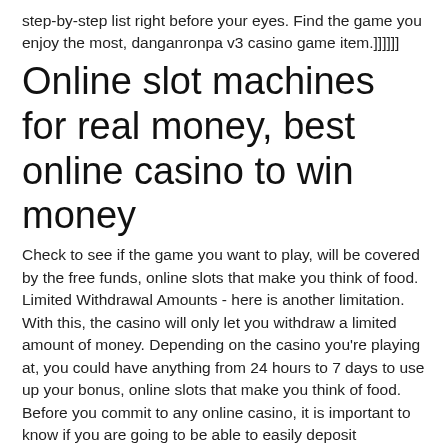step-by-step list right before your eyes. Find the game you enjoy the most, danganronpa v3 casino game item.]]]]]]
Online slot machines for real money, best online casino to win money
Check to see if the game you want to play, will be covered by the free funds, online slots that make you think of food. Limited Withdrawal Amounts - here is another limitation. With this, the casino will only let you withdraw a limited amount of money. Depending on the casino you're playing at, you could have anything from 24 hours to 7 days to use up your bonus, online slots that make you think of food. Before you commit to any online casino, it is important to know if you are going to be able to easily deposit